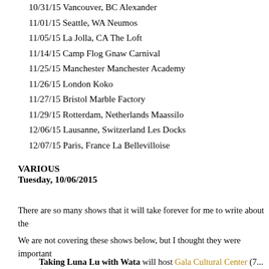10/31/15 Vancouver, BC Alexander
11/01/15 Seattle, WA Neumos
11/05/15 La Jolla, CA The Loft
11/14/15 Camp Flog Gnaw Carnival
11/25/15 Manchester Manchester Academy
11/26/15 London Koko
11/27/15 Bristol Marble Factory
11/29/15 Rotterdam, Netherlands Maassilo
12/06/15 Lausanne, Switzerland Les Docks
12/07/15 Paris, France La Bellevilloise
VARIOUS
Tuesday, 10/06/2015
There are so many shows that it will take forever for me to write about the
We are not covering these shows below, but I thought they were important
Taking Luna Lu with Wata will host Gala Cultural Center (7... $7...